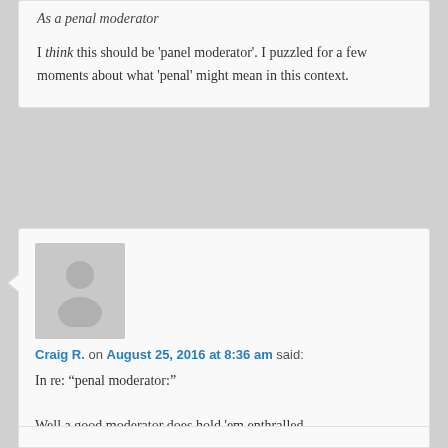As a penal moderator
I think this should be 'panel moderator'. I puzzled for a few moments about what 'penal' might mean in this context.
[Figure (illustration): Generic user avatar placeholder image - grey silhouette of a person on light grey background]
Craig R. on August 25, 2016 at 8:36 am said:
In re: “penal moderator:”

Well a good moderator does hold 'em enthralled
…